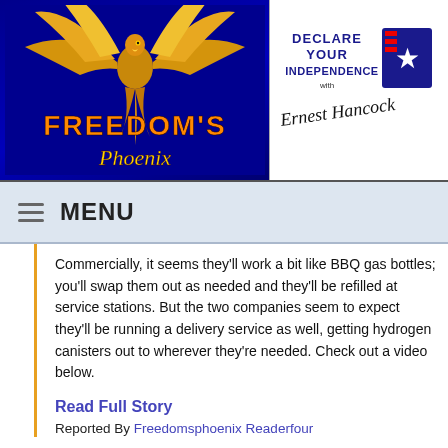[Figure (logo): Freedom's Phoenix logo with golden phoenix bird on dark blue background with orange and gold text]
[Figure (logo): Declare Your Independence with Ernest Hancock logo in blue and white]
MENU
Commercially, it seems they'll work a bit like BBQ gas bottles; you'll swap them out as needed and they'll be refilled at service stations. But the two companies seem to expect they'll be running a delivery service as well, getting hydrogen canisters out to wherever they're needed. Check out a video below.
Read Full Story
Reported By Freedomsphoenix Readerfour
Make a Comment • Email Link • Send Letter to Editor